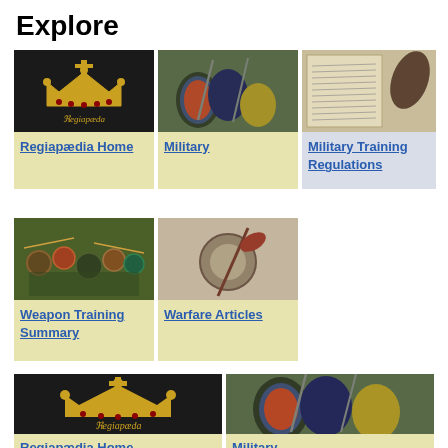Explore
[Figure (screenshot): Regiapædia logo on dark background]
Regiapædia Home
[Figure (photo): Medieval warriors fighting with shields and weapons]
Military
[Figure (photo): Old handwritten manuscript document]
Military Training Regulations
[Figure (photo): Group of medieval reenactors in colorful costumes]
Weapon Training Summary
[Figure (photo): Medieval warrior with round shield deflecting a spear]
Warfare Articles
[Figure (screenshot): Regiapædia logo on dark background (partial)]
Regiapædia Home
[Figure (photo): Medieval warriors fighting with shields (partial)]
Military